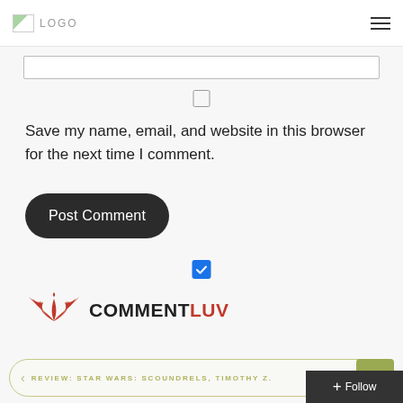LOGO
[Figure (screenshot): Website comment form partial view showing an input field, unchecked checkbox, Save my name text, Post Comment button, checked CommentLuv checkbox, CommentLuv branding logo, and bottom navigation bar with back to top button and Follow button.]
Save my name, email, and website in this browser for the next time I comment.
Post Comment
[Figure (logo): CommentLuv logo with red phoenix wings and COMMENTLUV text]
< REVIEW: STAR WARS: SCOUNDRELS, TIMOTHY Z.